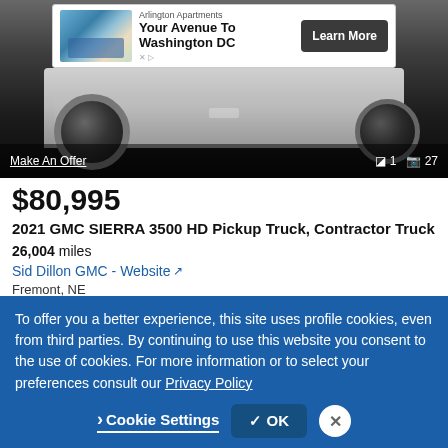[Figure (screenshot): Advertisement banner: Arlington Apartments - Your Avenue To Washington DC, with Learn More button]
[Figure (photo): GMC Sierra 3500 HD pickup truck photographed from below/side angle in dark lighting, showing wheel and undercarriage. Make An Offer link at bottom left, 1 video and 27 photos count at bottom right.]
$80,995
2021 GMC SIERRA 3500 HD Pickup Truck, Contractor Truck
26,004 miles
Sid Dillon GMC - Website
Fremont, NE
Email
Call
To offer you a better experience, this site uses profile cookies, even from third parties. By continuing to use this website you consent to the use of cookies. For more information or to select your preferences consult our Privacy Policy
Cookie Settings
✓ OK